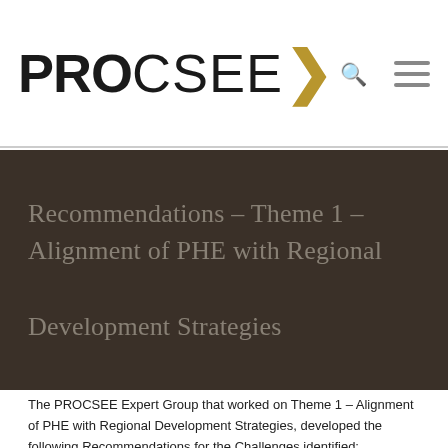PROCSEE
Recommendations – Theme 1 – Alignment of PHE with Regional Development Strategies
The PROCSEE Expert Group that worked on Theme 1 – Alignment of PHE with Regional Development Strategies, developed the following Recommendations for the Challenges identified:
T1 – Alignment of PHE with Regional Development